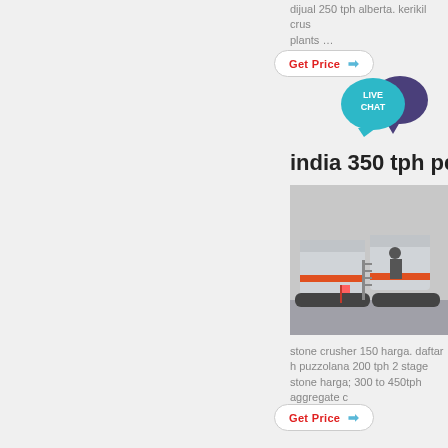dijual 250 tph alberta. kerikil crus plants …
Get Price →
[Figure (illustration): Live Chat speech bubble icon in teal/blue with dark purple chat bubble behind]
india 350 tph pem
[Figure (photo): Industrial mobile stone crusher machine on tracks parked near a building]
stone crusher 150 harga. daftar h puzzolana 200 tph 2 stage stone harga; 300 to 450tph aggregate c
Get Price →